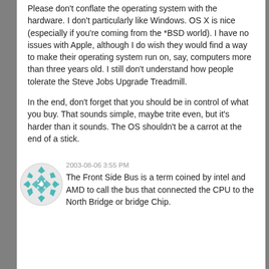Please don't conflate the operating system with the hardware. I don't particularly like Windows. OS X is nice (especially if you're coming from the *BSD world). I have no issues with Apple, although I do wish they would find a way to make their operating system run on, say, computers more than three years old. I still don't understand how people tolerate the Steve Jobs Upgrade Treadmill.
In the end, don't forget that you should be in control of what you buy. That sounds simple, maybe trite even, but it's harder than it sounds. The OS shouldn't be a carrot at the end of a stick.
2003-08-06 3:55 PM
The Front Side Bus is a term coined by intel and AMD to call the bus that connected the CPU to the North Bridge or bridge Chip.